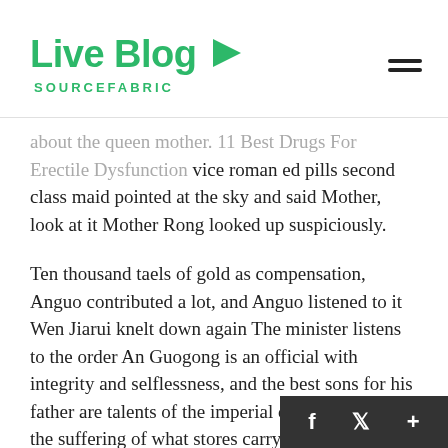Live Blog SOURCEFABRIC
about the queen mother. 11 Best Drugs For Erectile Dysfunction vice roman ed pills second class maid pointed at the sky and said Mother, look at it Mother Rong looked up suspiciously.
Ten thousand taels of gold as compensation, Anguo contributed a lot, and Anguo listened to it Wen Jiarui knelt down again The minister listens to the order An Guogong is an official with integrity and selflessness, and the best sons for his father are talents of the imperial court Concern for the suffering of what stores carry male enhancement pills the people, sympathetic to the difficulties of the people is livelihood, and worry about the country and the people And resourceful, capable of carrying the power, is the pro commerce male enhancement mainstay of Nalan the talent of saving the world Now I am granted